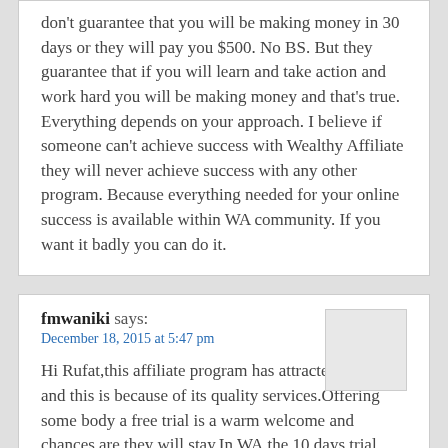don't guarantee that you will be making money in 30 days or they will pay you $500. No BS. But they guarantee that if you will learn and take action and work hard you will be making money and that's true. Everything depends on your approach. I believe if someone can't achieve success with Wealthy Affiliate they will never achieve success with any other program. Because everything needed for your online success is available within WA community. If you want it badly you can do it.
fmwaniki says:
December 18, 2015 at 5:47 pm
Hi Rufat,this affiliate program has attracted many and this is because of its quality services.Offering some body a free trial is a warm welcome and chances are they will stay.In WA,the 10 days trial have more than enough to prove if this is legit or a scam.You have